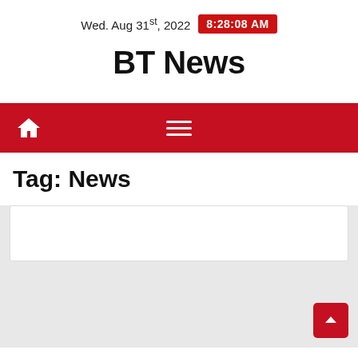Wed. Aug 31st, 2022  8:28:08 AM
BT News
[Figure (screenshot): Red navigation bar with home icon on the left and hamburger menu icon in the center]
Tag: News
[Figure (screenshot): Light gray content area with white article card partially visible and a red scroll-to-top button in the bottom right corner]